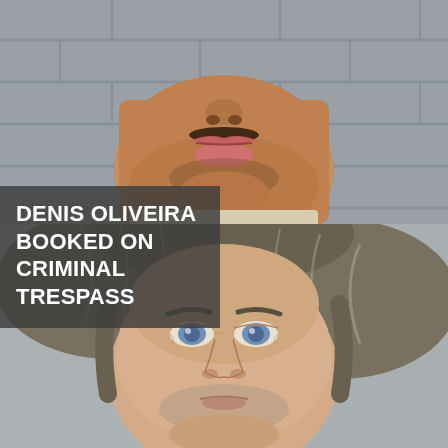[Figure (photo): Top mugshot photo: close-up of a man with medium-brown skin, black mustache and goatee stubble, wearing a light-colored top, photographed against a gray cinder-block wall. Only the lower portion of the face (nose to chin/neck) is visible.]
DENIS OLIVEIRA BOOKED ON CRIMINAL TRESPASS
[Figure (photo): Bottom mugshot photo: close-up of an older white man with wavy gray-and-brown hair, blue eyes, and light stubble, photographed against a gray background. The face from forehead to chin is visible.]